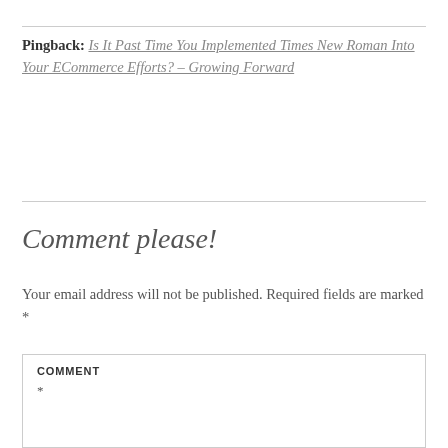Pingback: Is It Past Time You Implemented Times New Roman Into Your ECommerce Efforts? – Growing Forward
Comment please!
Your email address will not be published. Required fields are marked *
COMMENT *